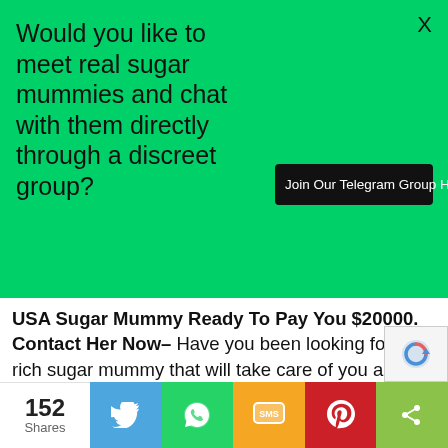[Figure (infographic): Green promotional banner asking 'Would you like to meet real sugar mummies and chat with them directly through a discreet group?' with a 'Join Our Telegram Group HERE' black button on the right.]
USA Sugar Mummy Ready To Pay You $20000. Contact Her Now– Have you been looking for a rich sugar mummy that will take care of you and provide all your needs but all to no avail? Do you want a sugar mummy that will pay you to love and care for her? If your answer is yes to the above questions, then today is your lucky today. Last week, we connected over 100 young men to rich sugar mumm
[Figure (infographic): Social share bar with share count 152 Shares, Twitter (blue), WhatsApp (green), SMS (yellow/orange), Pinterest (red), and more/share (lime green) buttons.]